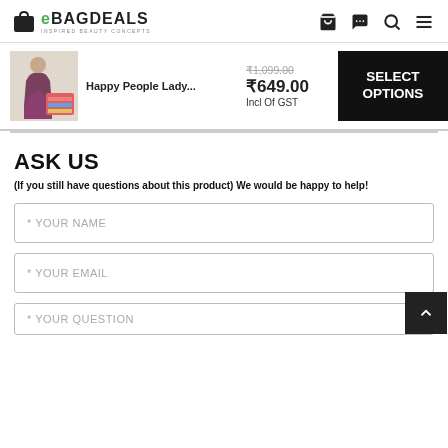eBagDeals — INSPIRED BEAUTY CONCEPTS
[Figure (photo): Product image of Happy People Lady lingerie set showing a woman in a bra and panty set with colorful folded items]
Happy People Lady...
₹1,099.00
₹649.00
Incl Of GST
SELECT OPTIONS
ASK US
(If you still have questions about this product) We would be happy to help!
* YOUR NAME
* YOUR EMAIL
* YOUR QUESTION